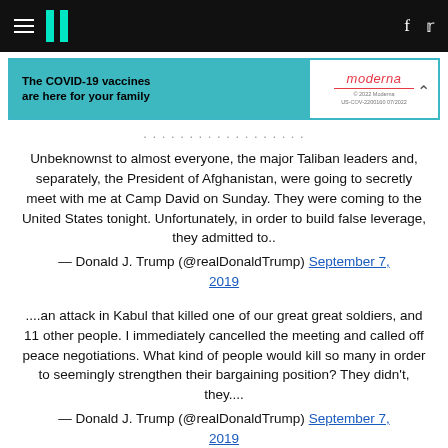HuffPost navigation with hamburger menu, logo, facebook and twitter icons
[Figure (other): Moderna COVID-19 vaccine advertisement banner: 'The COVID-19 vaccines are here for your family' with Moderna logo]
...
Unbeknownst to almost everyone, the major Taliban leaders and, separately, the President of Afghanistan, were going to secretly meet with me at Camp David on Sunday. They were coming to the United States tonight. Unfortunately, in order to build false leverage, they admitted to..
— Donald J. Trump (@realDonaldTrump) September 7, 2019
....an attack in Kabul that killed one of our great great soldiers, and 11 other people. I immediately cancelled the meeting and called off peace negotiations. What kind of people would kill so many in order to seemingly strengthen their bargaining position? They didn't, they....
— Donald J. Trump (@realDonaldTrump) September 7, 2019